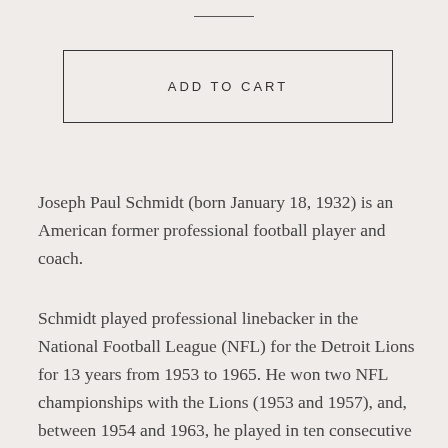[Figure (other): Horizontal divider line at top of page]
ADD TO CART
Joseph Paul Schmidt (born January 18, 1932) is an American former professional football player and coach.
Schmidt played professional linebacker in the National Football League (NFL) for the Detroit Lions for 13 years from 1953 to 1965. He won two NFL championships with the Lions (1953 and 1957), and, between 1954 and 1963, he played in ten consecutive Pro Bowl games and was selected each year as a first-team All-Pro player. He was also voted by his fellow NFL players as the NFL's most valuable defensive player in 1960 and 1963, named to the NFL 1950s All-Decade Team, and